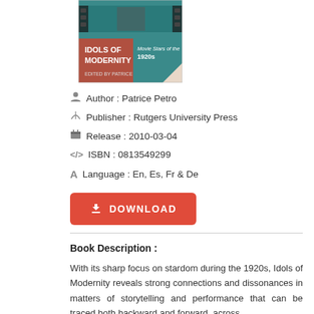[Figure (illustration): Book cover for 'Idols of Modernity' edited by Patrice Petro, showing movie stars of the 1920s]
Author : Patrice Petro
Publisher : Rutgers University Press
Release : 2010-03-04
ISBN : 0813549299
Language : En, Es, Fr & De
Book Description :
With its sharp focus on stardom during the 1920s, Idols of Modernity reveals strong connections and dissonances in matters of storytelling and performance that can be traced both backward and forward, across Europe and the United States from the the t